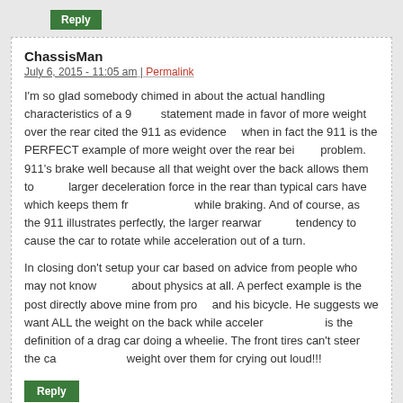Reply
ChassisMan
July 6, 2015 - 11:05 am | Permalink
I'm so glad somebody chimed in about the actual handling characteristics of a 9... statement made in favor of more weight over the rear cited the 911 as evidence... when in fact the 911 is the PERFECT example of more weight over the rear bei... problem. 911's brake well because all that weight over the back allows them to... larger deceleration force in the rear than typical cars have which keeps them fro... while braking. And of course, as the 911 illustrates perfectly, the larger rearwar... tendency to cause the car to rotate while acceleration out of a turn.
In closing don't setup your car based on advice from people who may not know... about physics at all. A perfect example is the post directly above mine from pro... and his bicycle. He suggests we want ALL the weight on the back while acceler... is the definition of a drag car doing a wheelie. The front tires can't steer the car... weight over them for crying out loud!!!
Reply